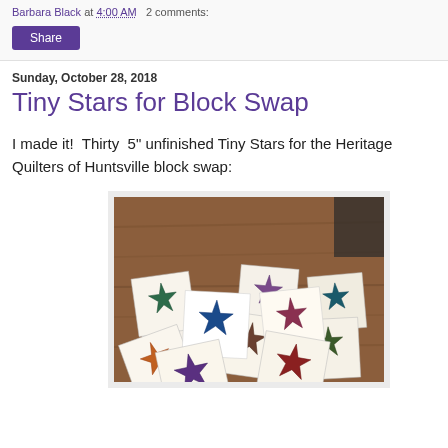Barbara Black at 4:00 AM   2 comments:
Share
Sunday, October 28, 2018
Tiny Stars for Block Swap
I made it!  Thirty  5" unfinished Tiny Stars for the Heritage Quilters of Huntsville block swap:
[Figure (photo): A pile of thirty small quilted star blocks in various colors laid out on a wooden table surface.]